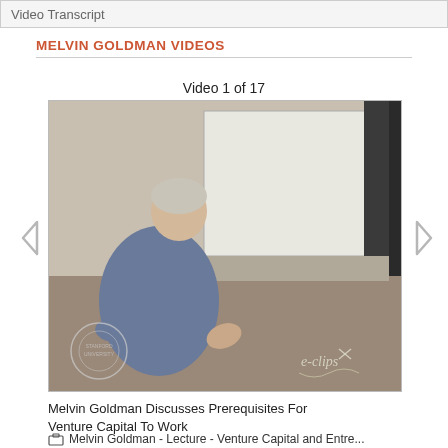Video Transcript
MELVIN GOLDMAN VIDEOS
Video 1 of 17
[Figure (screenshot): Video thumbnail showing a lecturer (Melvin Goldman) standing in front of a projection screen and chalkboard in a classroom setting. The video has an e-clips watermark in the bottom right and a university seal in the bottom left.]
Melvin Goldman Discusses Prerequisites For Venture Capital To Work
Melvin Goldman - Lecture - Venture Capital and Entre...